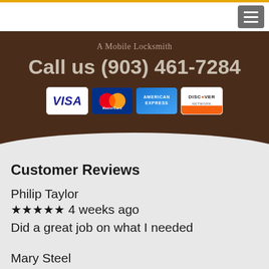A Mobile Locksmith — Call us (903) 461-7284
Customer Reviews
Philip Taylor
★★★★★ 4 weeks ago
Did a great job on what I needed
Mary Steel
★★★★★ 6 weeks ago
Same day service and fair pricing. Prompt and professional! Definitely would have